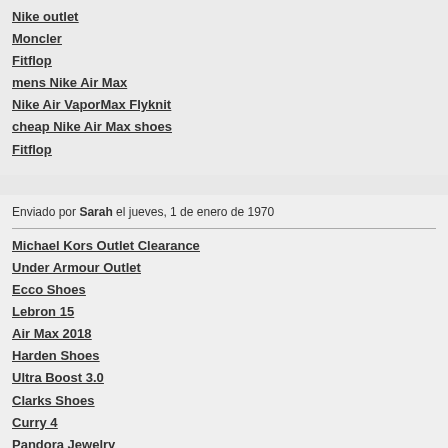Nike outlet
Moncler
Fitflop
mens Nike Air Max
Nike Air VaporMax Flyknit
cheap Nike Air Max shoes
Fitflop
Enviado por Sarah el jueves, 1 de enero de 1970
Michael Kors Outlet Clearance
Under Armour Outlet
Ecco Shoes
Lebron 15
Air Max 2018
Harden Shoes
Ultra Boost 3.0
Clarks Shoes
Curry 4
Pandora Jewelry
Kate Spade Factory Outlet
Lebron 15 Shoes
Kyrie Irving Shoes